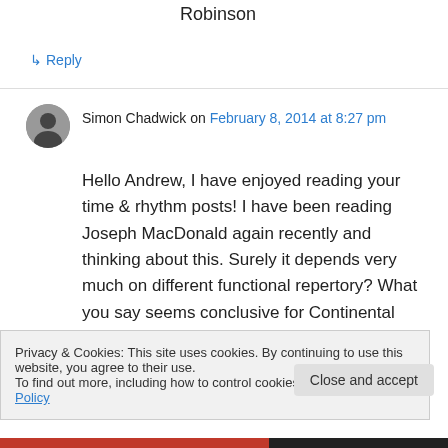Robinson
↳ Reply
Simon Chadwick on February 8, 2014 at 8:27 pm
Hello Andrew, I have enjoyed reading your time & rhythm posts! I have been reading Joseph MacDonald again recently and thinking about this. Surely it depends very much on different functional repertory? What you say seems conclusive for Continental court music of the
Privacy & Cookies: This site uses cookies. By continuing to use this website, you agree to their use.
To find out more, including how to control cookies, see here: Cookie Policy
Close and accept